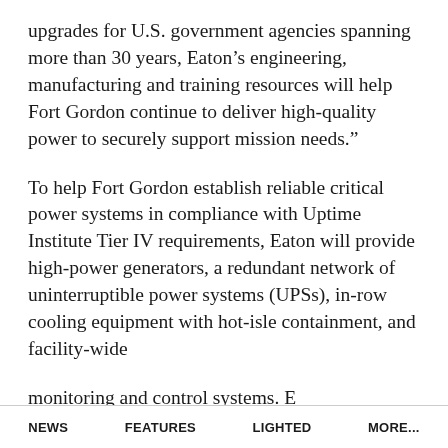upgrades for U.S. government agencies spanning more than 30 years, Eaton’s engineering, manufacturing and training resources will help Fort Gordon continue to deliver high-quality power to securely support mission needs.”
To help Fort Gordon establish reliable critical power systems in compliance with Uptime Institute Tier IV requirements, Eaton will provide high-power generators, a redundant network of uninterruptible power systems (UPSs), in-row cooling equipment with hot-isle containment, and facility-wide [continues below]
NEWS   FEATURES   LIGHTED   MORE...